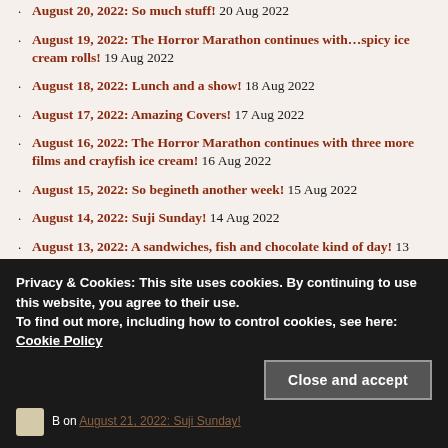August 20, 2022: So much stuff! 20 Aug 2022
August 19, 2022: The Horror Marathon continues with…spicy ice cream rolls! 19 Aug 2022
August 18, 2022: Lunch and a show! 18 Aug 2022
August 17, 2022: Amazing Covers! 17 Aug 2022
August 16, 2022: The Horror Marathon continues with three more films and crayfish ice cream! 16 Aug 2022
August 15, 2022: So begineth another week! 15 Aug 2022
August 14, 2022: Suji Sunday! 14 Aug 2022
August 13, 2022: A sandwiches, fish and chocolate kind of day! 13 Aug 2022
Privacy & Cookies: This site uses cookies. By continuing to use this website, you agree to their use. To find out more, including how to control cookies, see here: Cookie Policy
Close and accept
B on August 21, 2022: Suji Sunday!